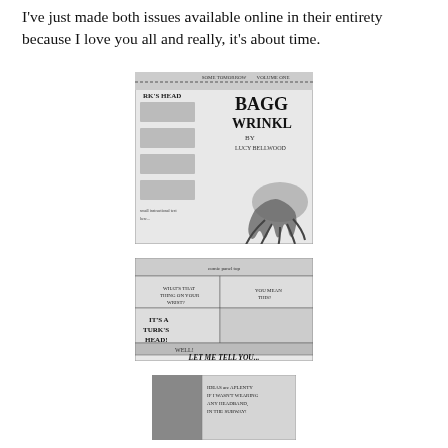I've just made both issues available online in their entirety because I love you all and really, it's about time.
[Figure (illustration): Cover of 'Baggy Wrinkle Volume One' by Lucy Bellwood, showing rope knot tying diagrams on the left and an octopus illustration on the right, with the title in bold lettered text.]
[Figure (illustration): Comic strip pages showing characters discussing a Turk's Head knot, with dialogue including 'IT'S A TURK'S HEAD!' and 'WELL! LET ME TELL YOU...']
[Figure (illustration): Partial view of another comic page, partially cropped at the bottom of the page.]